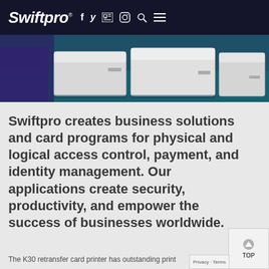Swiftpro® f y in © Q ≡
[Figure (photo): White card printer machines on a dark teal/blue surface with purple lighting accent on the left side]
Swiftpro creates business solutions and card programs for physical and logical access control, payment, and identity management. Our applications create security, productivity, and empower the success of businesses worldwide.
The K30 retransfer card printer has outstanding print